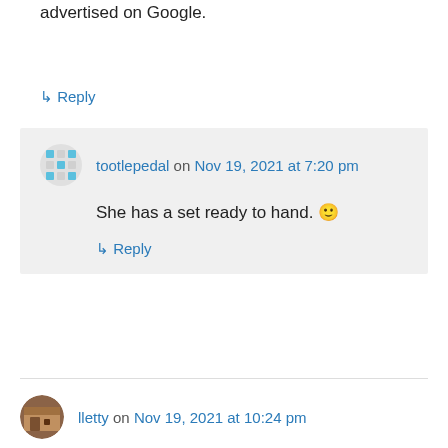advertised on Google.
↳ Reply
tootlepedal on Nov 19, 2021 at 7:20 pm
She has a set ready to hand. 🙂
↳ Reply
lletty on Nov 19, 2021 at 10:24 pm
Huge range of lichen in your photos from soup plate size to miniature cities. I keep looking but never find so many different kinds here!
↳ Reply